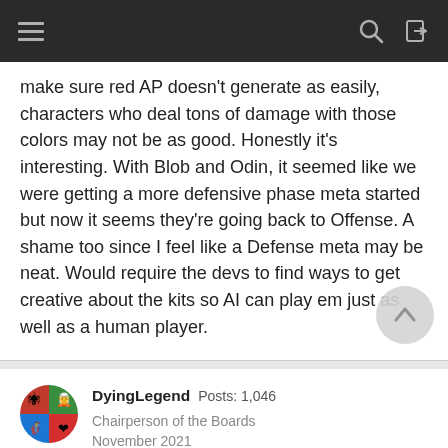make sure red AP doesn't generate as easily, characters who deal tons of damage with those colors may not be as good. Honestly it's interesting. With Blob and Odin, it seemed like we were getting a more defensive phase meta started but now it seems they're going back to Offense. A shame too since I feel like a Defense meta may be neat. Would require the devs to find ways to get creative about the kits so AI can play em just as well as a human player.
DyingLegend  Posts: 1,046  Chairperson of the Boards
November 2021
What's up with all these overly complicated characters lately.......